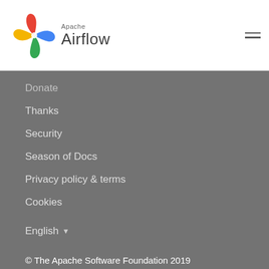[Figure (logo): Apache Airflow logo with pinwheel icon and text 'Apache Airflow']
Donate
Thanks
Security
Season of Docs
Privacy policy & terms
Cookies
English ▾
© The Apache Software Foundation 2019
Apache Airflow, Apache, Airflow, the Airflow logo, and the Apache feather logo are either registered trademarks or trademarks of The Apache Software Foundation. All other products or name brands are trademarks of their respective holders, including The Apache Software Foundation.